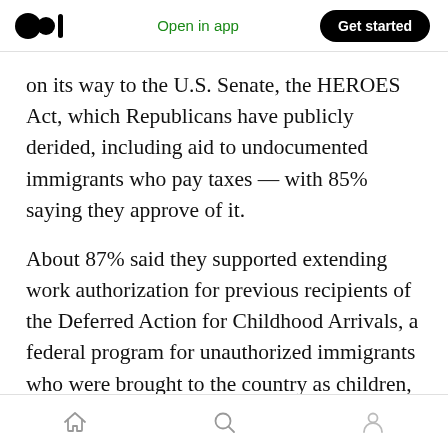Medium logo | Open in app | Get started
on its way to the U.S. Senate, the HEROES Act, which Republicans have publicly derided, including aid to undocumented immigrants who pay taxes — with 85% saying they approve of it.
About 87% said they supported extending work authorization for previous recipients of the Deferred Action for Childhood Arrivals, a federal program for unauthorized immigrants who were brought to the country as children, and the Temporary Protected Status, which gives temporary work permits and relief from
Home | Search | Profile